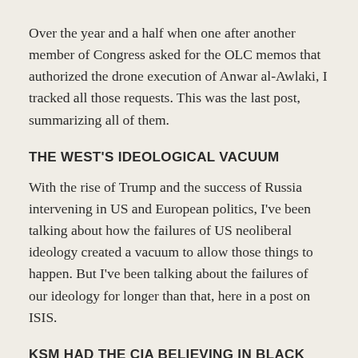Over the year and a half when one after another member of Congress asked for the OLC memos that authorized the drone execution of Anwar al-Awlaki, I tracked all those requests. This was the last post, summarizing all of them.
THE WEST'S IDEOLOGICAL VACUUM
With the rise of Trump and the success of Russia intervening in US and European politics, I've been talking about how the failures of US neoliberal ideology created a vacuum to allow those things to happen. But I've been talking about the failures of our ideology for longer than that, here in a post on ISIS.
KSM HAD THE CIA BELIEVING IN BLACK